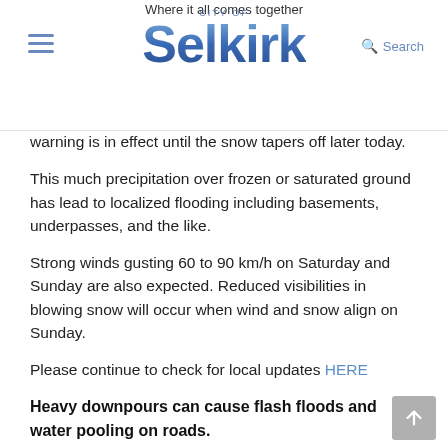City of Selkirk — Where it all comes together
warning is in effect until the snow tapers off later today.
This much precipitation over frozen or saturated ground has lead to localized flooding including basements, underpasses, and the like.
Strong winds gusting 60 to 90 km/h on Saturday and Sunday are also expected. Reduced visibilities in blowing snow will occur when wind and snow align on Sunday.
Please continue to check for local updates HERE
Heavy downpours can cause flash floods and water pooling on roads.
If visibility is reduced while driving, slow down, watch for tail lights ahead and be prepared to stop.
Rainfall warnings are issued when significant rainfall is